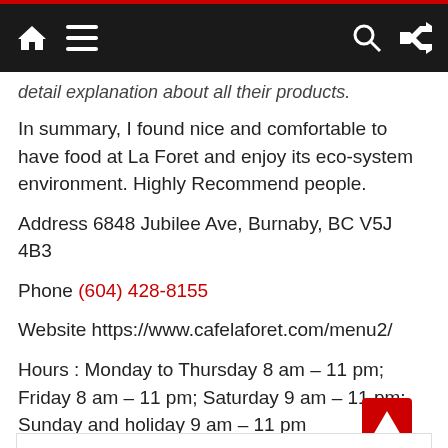Navigation bar with home, menu, search, and shuffle icons
detail explanation about all their products.
In summary, I found nice and comfortable to have food at La Foret and enjoy its eco-system environment. Highly Recommend people.
Address 6848 Jubilee Ave, Burnaby, BC V5J 4B3
Phone (604) 428-8155
Website https://www.cafelaforet.com/menu2/
Hours : Monday to Thursday 8 am – 11 pm; Friday 8 am – 11 pm; Saturday 9 am – 11 pm; Sunday and holiday 9 am – 11 pm
[Figure (other): Broken image placeholder with caption: La Forêt Bakery & Coffee Menu, Reviews, Photos, Location and Info - Zomato]